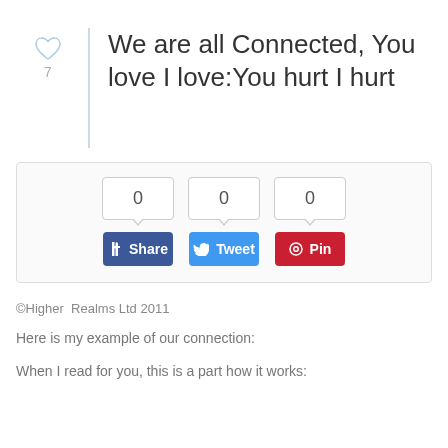We are all Connected, You love I love:You hurt I hurt
[Figure (screenshot): Social share buttons showing Facebook Share, Twitter Tweet, and Pinterest Pin, each with a count bubble showing 0]
©Higher  Realms Ltd 2011
Here is my example of our connection:
When I read for you, this is a part how it works: